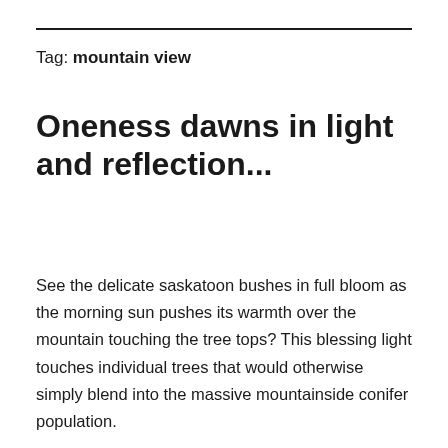Tag: mountain view
Oneness dawns in light and reflection...
See the delicate saskatoon bushes in full bloom as the morning sun pushes its warmth over the mountain touching the tree tops? This blessing light touches individual trees that would otherwise simply blend into the massive mountainside conifer population.